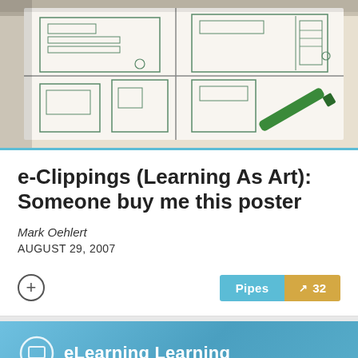[Figure (photo): Wireframe sketch on paper with a green marker pen, showing UI/layout wireframes drawn by hand]
e-Clippings (Learning As Art): Someone buy me this poster
Mark Oehlert
AUGUST 29, 2007
[Figure (screenshot): eLearning Learning website banner with logo icon and text 'eLearning Learning', and partially visible text 'Our reader' below on a blue background]